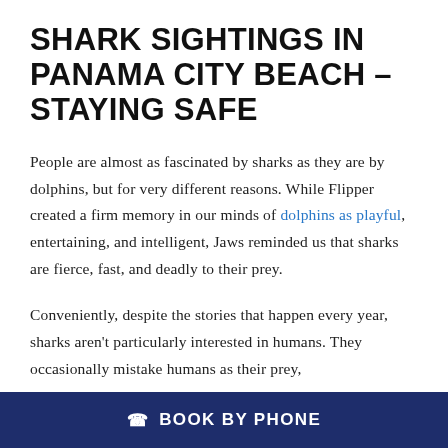SHARK SIGHTINGS IN PANAMA CITY BEACH – STAYING SAFE
People are almost as fascinated by sharks as they are by dolphins, but for very different reasons. While Flipper created a firm memory in our minds of dolphins as playful, entertaining, and intelligent, Jaws reminded us that sharks are fierce, fast, and deadly to their prey.
Conveniently, despite the stories that happen every year, sharks aren't particularly interested in humans. They occasionally mistake humans as their prey,
BOOK BY PHONE